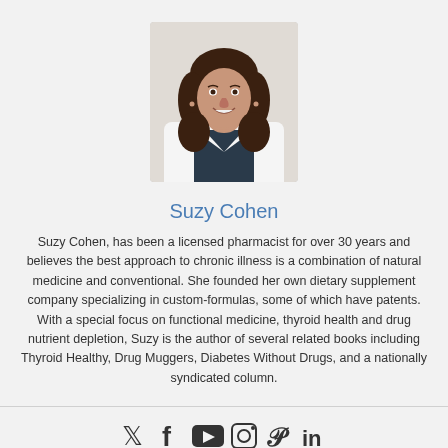[Figure (photo): Headshot of Suzy Cohen, a woman with long dark brown hair, smiling, wearing a white coat, professional pharmacy/medical portrait]
Suzy Cohen
Suzy Cohen, has been a licensed pharmacist for over 30 years and believes the best approach to chronic illness is a combination of natural medicine and conventional. She founded her own dietary supplement company specializing in custom-formulas, some of which have patents. With a special focus on functional medicine, thyroid health and drug nutrient depletion, Suzy is the author of several related books including Thyroid Healthy, Drug Muggers, Diabetes Without Drugs, and a nationally syndicated column.
[Figure (other): Social media icons: Twitter (bird), Facebook (f), YouTube (play button), Instagram (camera), Pinterest (P), LinkedIn (in)]